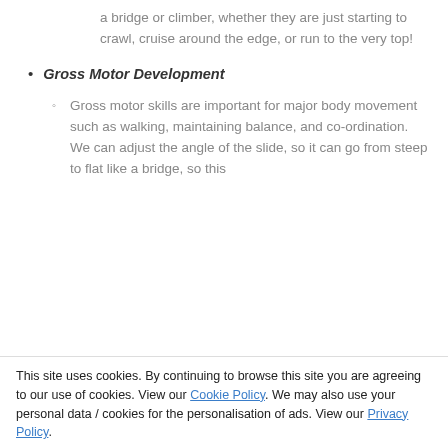a bridge or climber, whether they are just starting to crawl, cruise around the edge, or run to the very top!
Gross Motor Development
Gross motor skills are important for major body movement such as walking, maintaining balance, and co-ordination. We can adjust the angle of the slide, so it can go from steep to flat like a bridge, so this
This site uses cookies. By continuing to browse this site you are agreeing to our use of cookies. View our Cookie Policy. We may also use your personal data / cookies for the personalisation of ads. View our Privacy Policy.